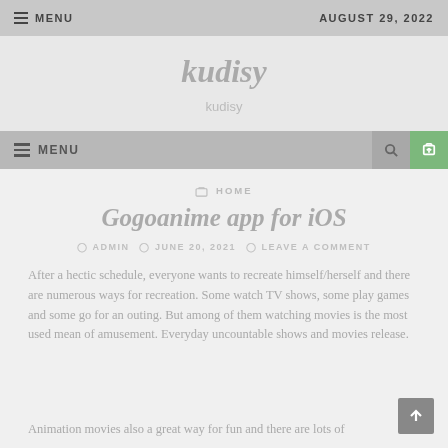≡ MENU   AUGUST 29, 2022
kudisy
kudisy
≡ MENU
HOME
Gogoanime app for iOS
ADMIN  JUNE 20, 2021  LEAVE A COMMENT
After a hectic schedule, everyone wants to recreate himself/herself and there are numerous ways for recreation. Some watch TV shows, some play games and some go for an outing. But among of them watching movies is the most used mean of amusement. Everyday uncountable shows and movies release.
Animation movies also a great way for fun and there are lots of